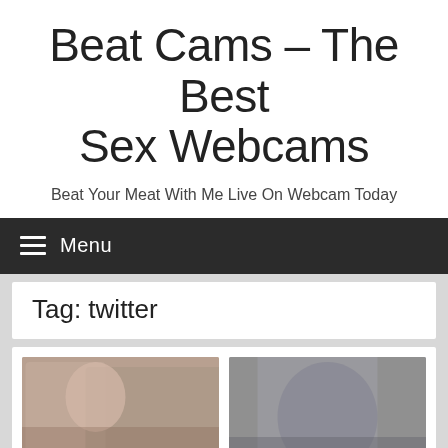Beat Cams – The Best Sex Webcams
Beat Your Meat With Me Live On Webcam Today
≡ Menu
Tag: twitter
[Figure (photo): Two thumbnail images: left shows a woman with dark hair, right shows a close-up scene with a NEW badge in the bottom right corner]